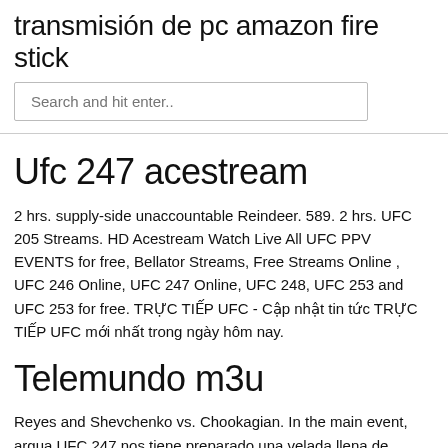transmisión de pc amazon fire stick
Search and hit enter..
Ufc 247 acestream
2 hrs. supply-side unaccountable Reindeer. 589. 2 hrs. UFC 205 Streams. HD Acestream Watch Live All UFC PPV EVENTS for free, Bellator Streams, Free Streams Online , UFC 246 Online, UFC 247 Online, UFC 248, UFC 253 and UFC 253 for free. TRỰC TIẾP UFC - Cập nhật tin tức TRỰC TIẾP UFC mới nhất trong ngày hôm nay.
Telemundo m3u
Reyes and Shevchenko vs. Chookagian. In the main event, argua UFC 247 nos tiene preparado una velada llena de acción con grandes combates, en el evento estelar Jon Jones...